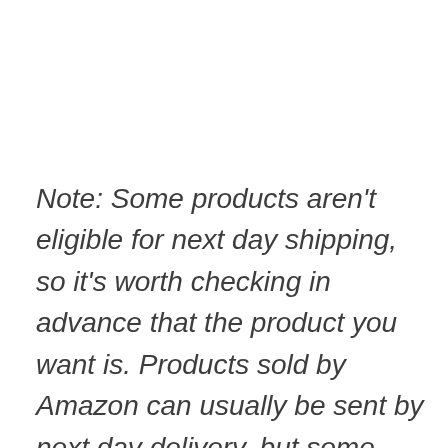Note: Some products aren't eligible for next day shipping, so it's worth checking in advance that the product you want is. Products sold by Amazon can usually be sent by next day delivery, but some third party sellers don't offer this. Always check in advance to avoid